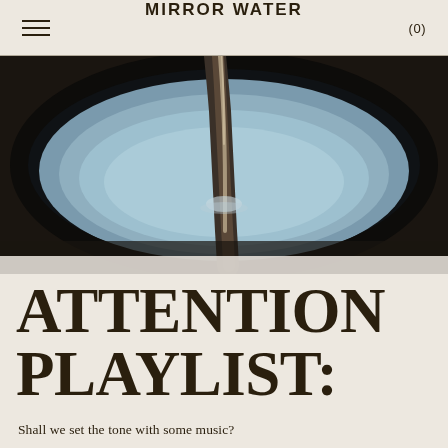MIRROR WATER
[Figure (photo): Close-up photo of water pouring into a circular bowl or vessel, set against a dark background. Water stream visible in the center with reflections on a light blue/grey surface.]
ATTENTION PLAYLIST:
Shall we set the tone with some music?